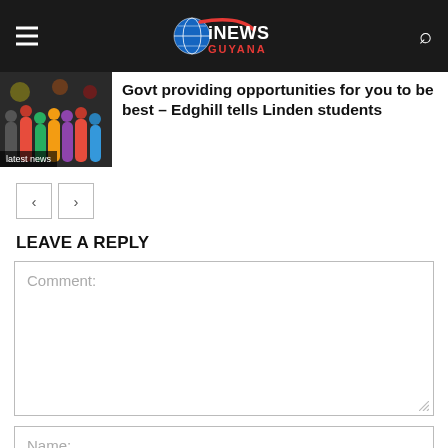iNEWS GUYANA
Govt providing opportunities for you to be best – Edghill tells Linden students
latest news
LEAVE A REPLY
Comment:
Name: